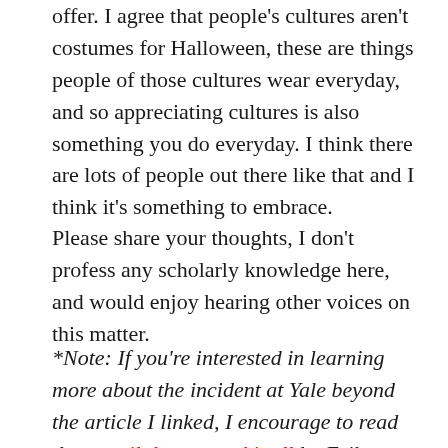offer. I agree that people's cultures aren't costumes for Halloween, these are things people of those cultures wear everyday, and so appreciating cultures is also something you do everyday. I think there are lots of people out there like that and I think it's something to embrace.
Please share your thoughts, I don't profess any scholarly knowledge here, and would enjoy hearing other voices on this matter.
*Note: If you're interested in learning more about the incident at Yale beyond the article I linked, I encourage to read the e-mail that started it all by Erika Christakis which I thought was a thoughtful one. You can then watch the YouTube video where Nicholas Christakis is